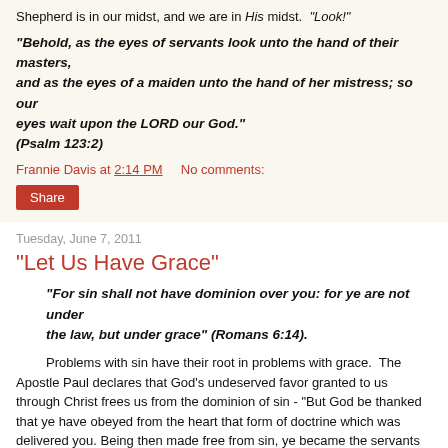Shepherd is in our midst, and we are in His midst.  "Look!"
"Behold, as the eyes of servants look unto the hand of their masters, and as the eyes of a maiden unto the hand of her mistress; so our eyes wait upon the LORD our God."
(Psalm 123:2)
Frannie Davis at 2:14 PM    No comments:
Share
Tuesday, June 7, 2011
"Let Us Have Grace"
"For sin shall not have dominion over you: for ye are not under the law, but under grace" (Romans 6:14).
Problems with sin have their root in problems with grace.  The Apostle Paul declares that God's undeserved favor granted to us through Christ frees us from the dominion of sin - "But God be thanked that ye have obeyed from the heart that form of doctrine which was delivered you. Being then made free from sin, ye became the servants of righteousness"